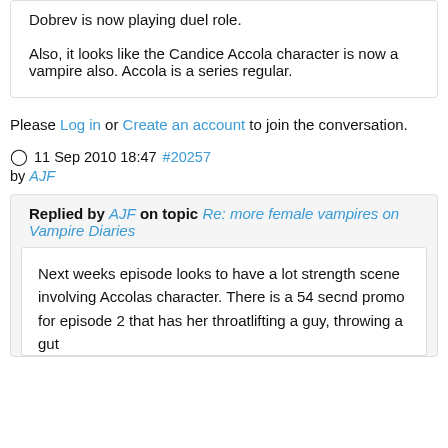Dobrev is now playing duel role.

Also, it looks like the Candice Accola character is now a vampire also. Accola is a series regular.
Please Log in or Create an account to join the conversation.
11 Sep 2010 18:47 #20257
by AJF
Replied by AJF on topic Re: more female vampires on Vampire Diaries
Next weeks episode looks to have a lot strength scene involving Accolas character. There is a 54 secnd promo for episode 2 that has her throatlifting a guy, throwing a gut